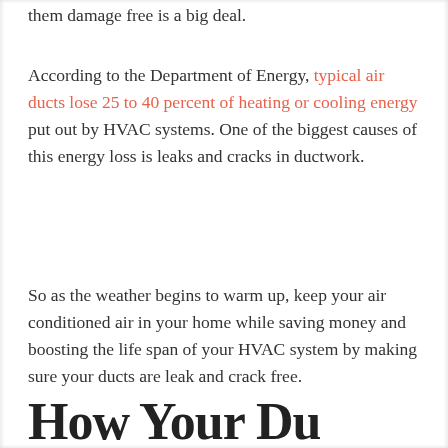them damage free is a big deal.
According to the Department of Energy, typical air ducts lose 25 to 40 percent of heating or cooling energy put out by HVAC systems. One of the biggest causes of this energy loss is leaks and cracks in ductwork.
So as the weather begins to warm up, keep your air conditioned air in your home while saving money and boosting the life span of your HVAC system by making sure your ducts are leak and crack free.
How Your Du...